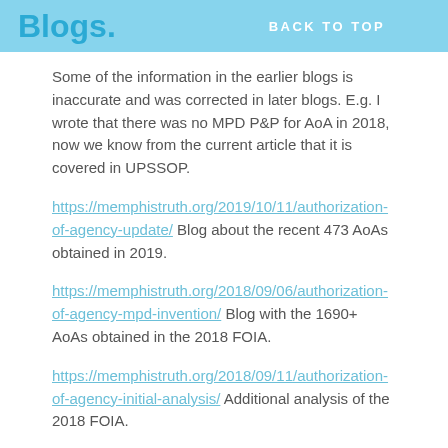Blogs.   BACK TO TOP
Some of the information in the earlier blogs is inaccurate and was corrected in later blogs.  E.g. I wrote that there was no MPD P&P for AoA in 2018, now we know from the current article that it is covered in UPSSOP.
https://memphistruth.org/2019/10/11/authorization-of-agency-update/ Blog about the recent 473 AoAs obtained in 2019.
https://memphistruth.org/2018/09/06/authorization-of-agency-mpd-invention/ Blog with the 1690+ AoAs obtained in the 2018 FOIA.
https://memphistruth.org/2018/09/11/authorization-of-agency-initial-analysis/ Additional analysis of the 2018 FOIA.